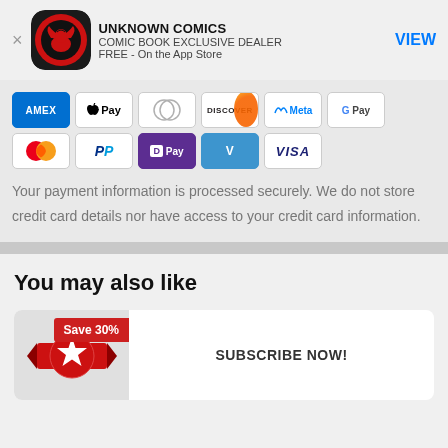[Figure (logo): Unknown Comics app icon — red circle with black silhouette of a winged figure on dark background]
UNKNOWN COMICS
COMIC BOOK EXCLUSIVE DEALER
FREE - On the App Store
VIEW
[Figure (infographic): Row of payment method icons: AMEX, Apple Pay, Diners Club, Discover, Meta Pay, Google Pay, Mastercard, PayPal, D Pay, Venmo, Visa]
Your payment information is processed securely. We do not store credit card details nor have access to your credit card information.
You may also like
[Figure (infographic): Red star badge icon with ribbon — promotional product image]
Save 30%
SUBSCRIBE NOW!